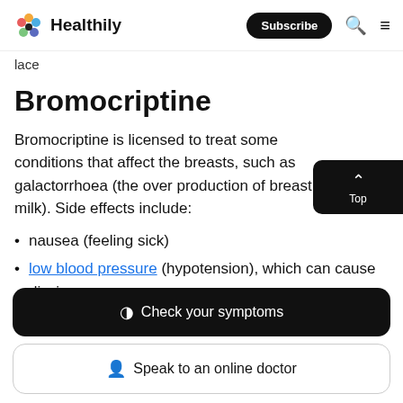Healthily | Subscribe
lace
Bromocriptine
Bromocriptine is licensed to treat some conditions that affect the breasts, such as galactorrhoea (the over production of breast milk). Side effects include:
nausea (feeling sick)
low blood pressure (hypotension), which can cause dizziness
Check your symptoms
Speak to an online doctor